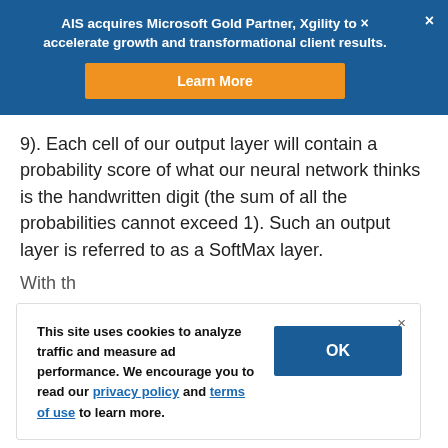AIS acquires Microsoft Gold Partner, Xgility to accelerate growth and transformational client results.
9). Each cell of our output layer will contain a probability score of what our neural network thinks is the handwritten digit (the sum of all the probabilities cannot exceed 1). Such an output layer is referred to as a SoftMax layer.
This site uses cookies to analyze traffic and measure ad performance. We encourage you to read our privacy policy and terms of use to learn more.